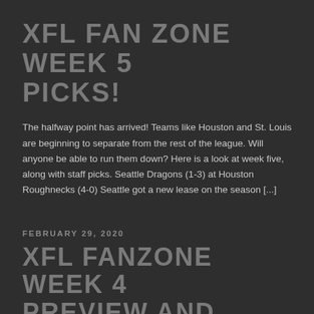XFL FAN ZONE WEEK 5 PICKS!
The halfway point has arrived! Teams like Houston and St. Louis are beginning to separate from the rest of the league. Will anyone be able to run them down? Here is a look at week five, along with staff picks. Seattle Dragons (1-3) at Houston Roughnecks (4-0) Seattle got a new lease on the season [...]
FEBRUARY 29, 2020
XFL FANZONE WEEK 4 PREVIEW AND PICKS
Week four is here, highlighted by the Texas Throwdown! Dallas